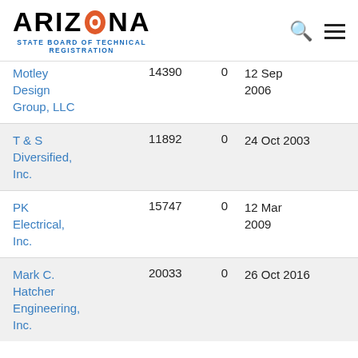ARIZONA STATE BOARD OF TECHNICAL REGISTRATION
| Name | Number |  | Date |
| --- | --- | --- | --- |
| Motley Design Group, LLC | 14390 | 0 | 12 Sep 2006 |
| T & S Diversified, Inc. | 11892 | 0 | 24 Oct 2003 |
| PK Electrical, Inc. | 15747 | 0 | 12 Mar 2009 |
| Mark C. Hatcher Engineering, Inc. | 20033 | 0 | 26 Oct 2016 |